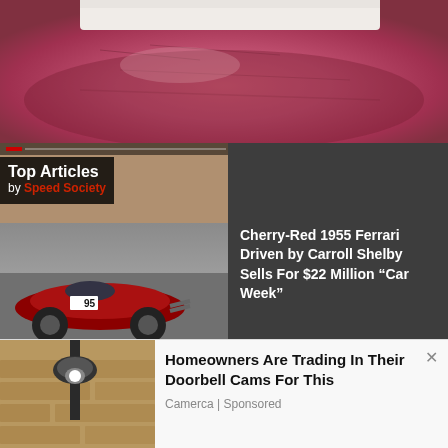[Figure (screenshot): Top banner showing close-up of lips/mouth texture in pink/red tones]
[Figure (screenshot): Video player showing racing car (red vintage Ferrari #95) on left, and two thumbnail images on right (Ferrari interior and autograph). Overlaid with Top Articles by Speed Society branding and article headline text.]
Top Articles by Speed Society
Cherry-Red 1955 Ferrari Driven by Carroll Shelby Sells For $22 Million “Car Week”
RELATED STORIES
Slick 1956 Chevy Nomad Wagon 496 Big Block Build
DeLorean Launches its First New Car in 40 Years
[Figure (photo): Advertisement photo showing outdoor wall lamp/security camera on stone wall]
Homeowners Are Trading In Their Doorbell Cams For This
Camerca | Sponsored